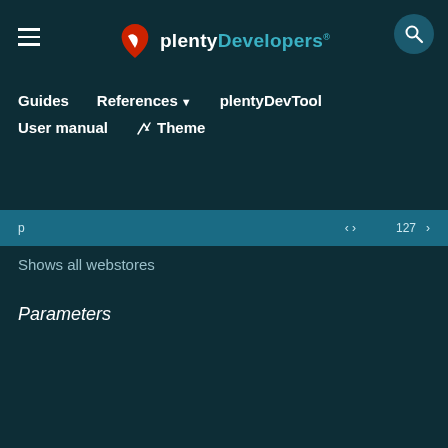plentyDevelopers
Guides
References
plentyDevTool
User manual
Theme
Shows all webstores
Parameters
| Name | Type | Description |
| --- | --- | --- |
| $columns |  |  |